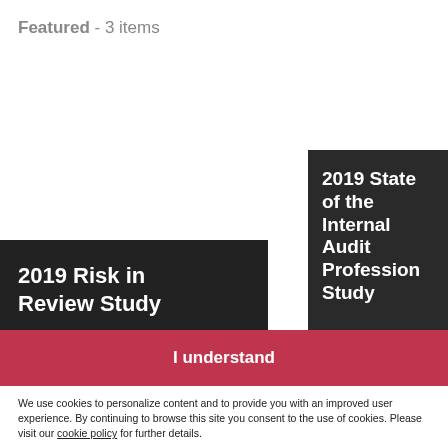Featured - 3 items
2019 Risk in Review Study
2019 State of the Internal Audit Profession Study
I understand
We use cookies to personalize content and to provide you with an improved user experience. By continuing to browse this site you consent to the use of cookies. Please visit our cookie policy for further details.
Assurance services can help you protect and